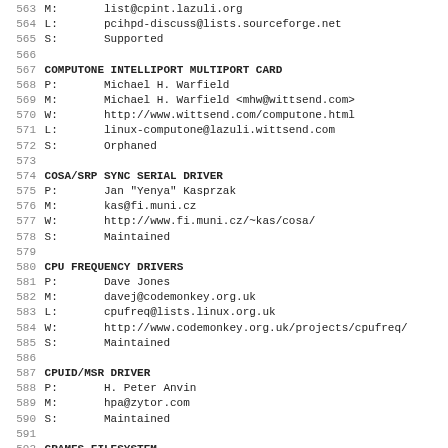563 M:       list@cpint.lazuli.org
564 L:       pcihpd-discuss@lists.sourceforge.net
565 S:       Supported
566
567 COMPUTONE INTELLIPORT MULTIPORT CARD
568 P:       Michael H. Warfield
569 M:       Michael H. Warfield <mhw@wittsend.com>
570 W:       http://www.wittsend.com/computone.html
571 L:       linux-computone@lazuli.wittsend.com
572 S:       Orphaned
573
574 COSA/SRP SYNC SERIAL DRIVER
575 P:       Jan "Yenya" Kasprzak
576 M:       kas@fi.muni.cz
577 W:       http://www.fi.muni.cz/~kas/cosa/
578 S:       Maintained
579
580 CPU FREQUENCY DRIVERS
581 P:       Dave Jones
582 M:       davej@codemonkey.org.uk
583 L:       cpufreq@lists.linux.org.uk
584 W:       http://www.codemonkey.org.uk/projects/cpufreq/
585 S:       Maintained
586
587 CPUID/MSR DRIVER
588 P:       H. Peter Anvin
589 M:       hpa@zytor.com
590 S:       Maintained
591
592 CRAMFS FILESYSTEM
593 W:       http://sourceforge.net/projects/cramfs/
594 S:       Orphan
595